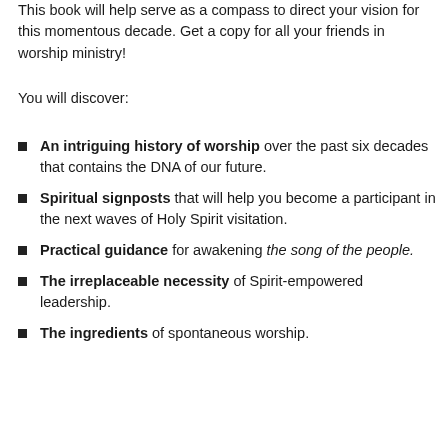This book will help serve as a compass to direct your vision for this momentous decade. Get a copy for all your friends in worship ministry!
You will discover:
An intriguing history of worship over the past six decades that contains the DNA of our future.
Spiritual signposts that will help you become a participant in the next waves of Holy Spirit visitation.
Practical guidance for awakening the song of the people.
The irreplaceable necessity of Spirit-empowered leadership.
The ingredients of spontaneous worship.